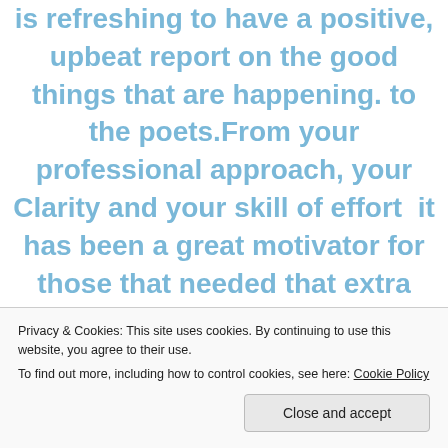is refreshing to have a positive, upbeat report on the good things that are happening. to the poets.From your professional approach, your Clarity and your skill of effort  it has been a great motivator for those that needed that extra push.You are doing a great job Jean, you
Privacy & Cookies: This site uses cookies. By continuing to use this website, you agree to their use.
To find out more, including how to control cookies, see here: Cookie Policy
Close and accept